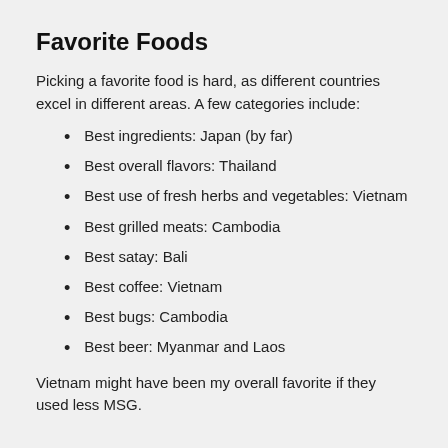Favorite Foods
Picking a favorite food is hard, as different countries excel in different areas. A few categories include:
Best ingredients: Japan (by far)
Best overall flavors: Thailand
Best use of fresh herbs and vegetables: Vietnam
Best grilled meats: Cambodia
Best satay: Bali
Best coffee: Vietnam
Best bugs: Cambodia
Best beer: Myanmar and Laos
Vietnam might have been my overall favorite if they used less MSG.